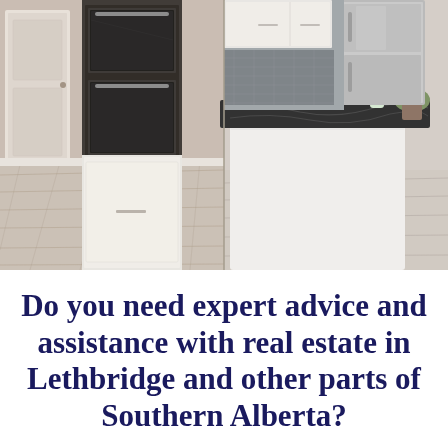[Figure (photo): Interior photo of a modern kitchen showing a large kitchen island with dark granite countertop, stainless steel appliances including double wall oven and refrigerator, white cabinets, and light wood-look luxury vinyl plank flooring. The image shows two panels side by side — left panel focuses on the oven and flooring area near a white door, right panel shows the island with the refrigerator and a plant in the background.]
Do you need expert advice and assistance with real estate in Lethbridge and other parts of Southern Alberta?